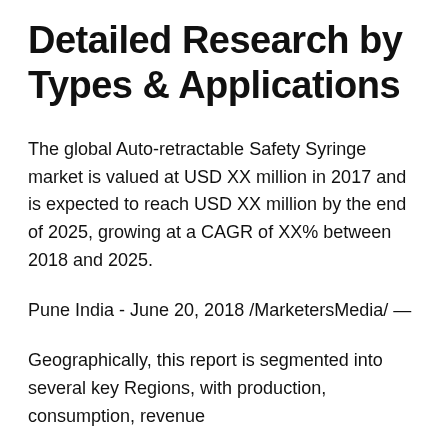Detailed Research by Types & Applications
The global Auto-retractable Safety Syringe market is valued at USD XX million in 2017 and is expected to reach USD XX million by the end of 2025, growing at a CAGR of XX% between 2018 and 2025.
Pune India - June 20, 2018 /MarketersMedia/ —
Geographically, this report is segmented into several key Regions, with production, consumption, revenue